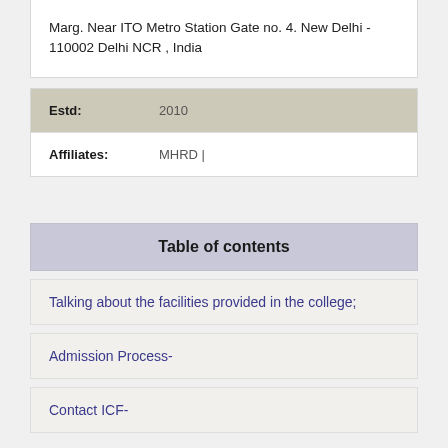Marg. Near ITO Metro Station Gate no. 4. New Delhi - 110002 Delhi NCR , India
| Estd: | 2010 |
| Affiliates: | MHRD | |
Table of contents
Talking about the facilities provided in the college;
Admission Process-
Contact ICF-